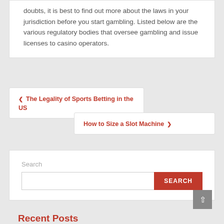doubts, it is best to find out more about the laws in your jurisdiction before you start gambling. Listed below are the various regulatory bodies that oversee gambling and issue licenses to casino operators.
The Legality of Sports Betting in the US
How to Size a Slot Machine
Search
Recent Posts